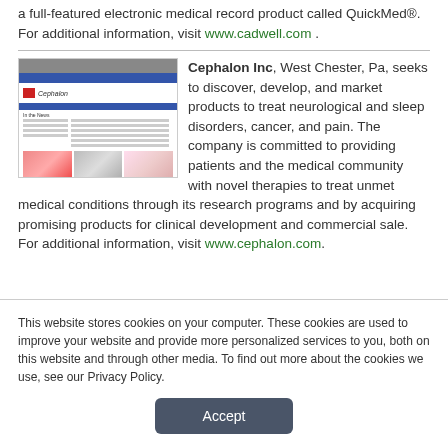a full-featured electronic medical record product called QuickMed®. For additional information, visit www.cadwell.com .
Cephalon Inc, West Chester, Pa, seeks to discover, develop, and market products to treat neurological and sleep disorders, cancer, and pain. The company is committed to providing patients and the medical community with novel therapies to treat unmet medical conditions through its research programs and by acquiring promising products for clinical development and commercial sale. For additional information, visit www.cephalon.com.
[Figure (screenshot): Screenshot of the Cephalon Inc website showing the company logo and navigation bar with images of patients.]
This website stores cookies on your computer. These cookies are used to improve your website and provide more personalized services to you, both on this website and through other media. To find out more about the cookies we use, see our Privacy Policy.
Accept